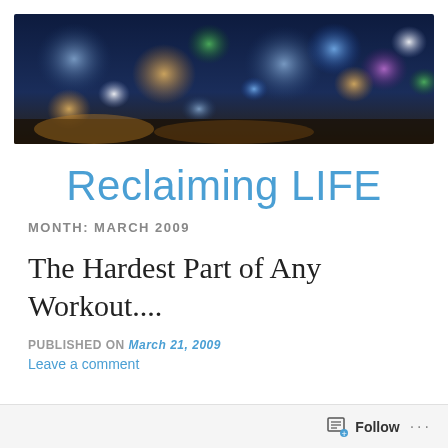[Figure (photo): Blurred bokeh night cityscape with colorful lights — blue, orange, green, and purple tones — serving as a blog header image.]
Reclaiming LIFE
MONTH: MARCH 2009
The Hardest Part of Any Workout....
PUBLISHED ON March 21, 2009
Leave a comment
Follow ...